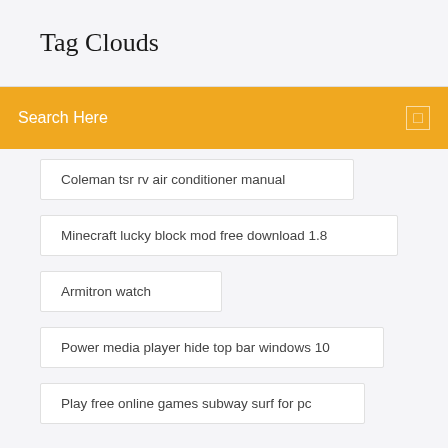Tag Clouds
Search Here
Coleman tsr rv air conditioner manual
Minecraft lucky block mod free download 1.8
Armitron watch
Power media player hide top bar windows 10
Play free online games subway surf for pc